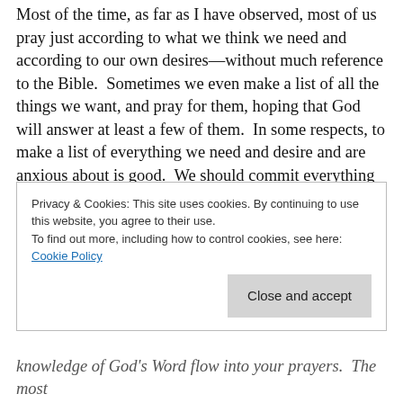Most of the time, as far as I have observed, most of us pray just according to what we think we need and according to our own desires—without much reference to the Bible.  Sometimes we even make a list of all the things we want, and pray for them, hoping that God will answer at least a few of them.  In some respects, to make a list of everything we need and desire and are anxious about is good.  We should commit everything to God, trusting Him for everything as a child (Phil. 4:6).  But if that is the only way we pray, we are not progressing in prayer.  A better way to pray is according to the scriptures.  I want to
Privacy & Cookies: This site uses cookies. By continuing to use this website, you agree to their use.
To find out more, including how to control cookies, see here: Cookie Policy
Close and accept
knowledge of God's Word flow into your prayers.  The most